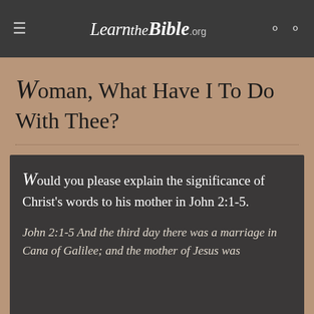LearntheBible.org
Woman, What Have I To Do With Thee?
Would you please explain the significance of Christ's words to his mother in John 2:1-5.
John 2:1-5 And the third day there was a marriage in Cana of Galilee; and the mother of Jesus was